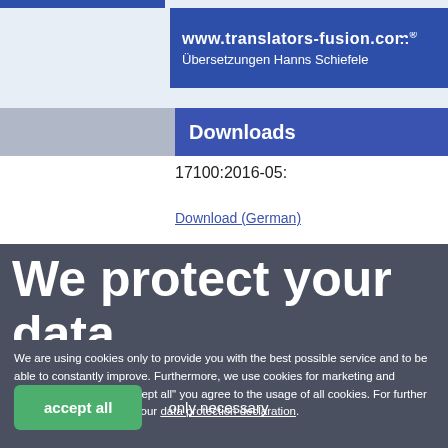www.translators-fusion.com® — Übersetzungen Hanns Schiefele
Downloads
17100:2016-05:
Download (German)
We protect your data
We are using cookies only to provide you with the best possible service and to be able to constantly improve. Furthermore, we use cookies for marketing and analysis. By clicking "accept all" you agree to the usage of all cookies. For further information, please read our data protection declaration.